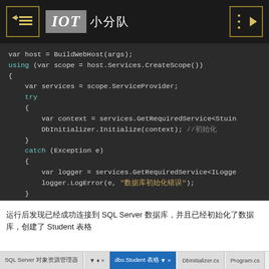[Figure (screenshot): Top navigation bar with left menu button, IOT 小分队 logo, and right back button on dark background]
[Figure (screenshot): Code editor screenshot showing C# code with var host, using block, try/catch, DbInitializer.Initialize and logger.LogError calls on dark background]
运行后发现已经成功连接到 SQL Server 数据库，并且已经初始化了数据库，创建了 Student 表格
[Figure (screenshot): Bottom toolbar showing SQL Server 对象资源管理器, dbo.Student 表格 tab (active), DbInitializer.cs tab, and Program.cs tab]